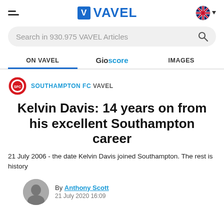VAVEL
Search in 930.975 VAVEL Articles
ON VAVEL | Gioscore | IMAGES
SOUTHAMPTON FC VAVEL
Kelvin Davis: 14 years on from his excellent Southampton career
21 July 2006 - the date Kelvin Davis joined Southampton. The rest is history
By Anthony Scott
21 July 2020 16:09